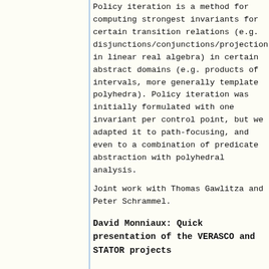Policy iteration is a method for computing strongest invariants for certain transition relations (e.g. disjunctions/conjunctions/projections in linear real algebra) in certain abstract domains (e.g. products of intervals, more generally template polyhedra). Policy iteration was initially formulated with one invariant per control point, but we adapted it to path-focusing, and even to a combination of predicate abstraction with polyhedral analysis.
Joint work with Thomas Gawlitza and Peter Schrammel.
David Monniaux: Quick presentation of the VERASCO and STATOR projects